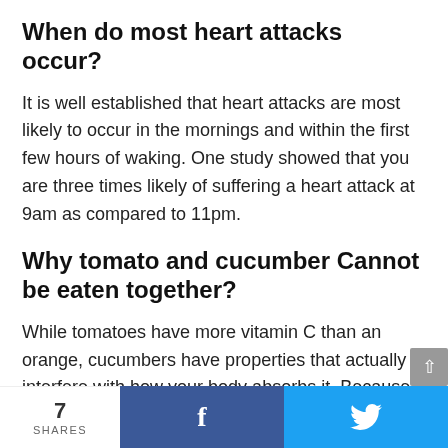When do most heart attacks occur?
It is well established that heart attacks are most likely to occur in the mornings and within the first few hours of waking. One study showed that you are three times likely of suffering a heart attack at 9am as compared to 11pm.
Why tomato and cucumber Cannot be eaten together?
While tomatoes have more vitamin C than an orange, cucumbers have properties that actually interfere with how your body absorbs it. Because of this, it is
7 SHARES  f  🐦